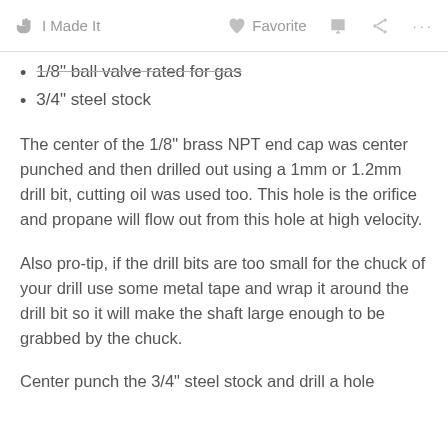I Made It   Favorite   ···
1/8" ball valve rated for gas
3/4" steel stock
The center of the 1/8" brass NPT end cap was center punched and then drilled out using a 1mm or 1.2mm drill bit, cutting oil was used too. This hole is the orifice and propane will flow out from this hole at high velocity.
Also pro-tip, if the drill bits are too small for the chuck of your drill use some metal tape and wrap it around the drill bit so it will make the shaft large enough to be grabbed by the chuck.
Center punch the 3/4" steel stock and drill a hole